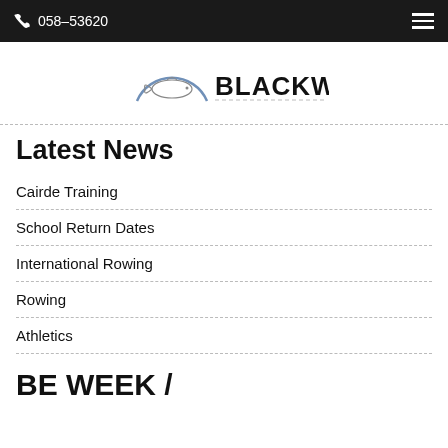058-53620
[Figure (logo): Blackwater logo with fish illustration inside a semicircle arc and BLACKWATER text]
Latest News
Cairde Training
School Return Dates
International Rowing
Rowing
Athletics
BE WEEK /